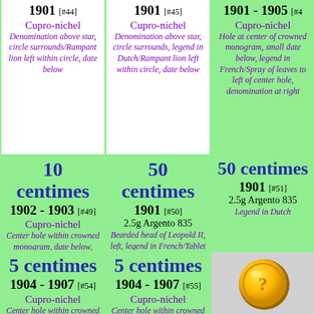1901 [#44] Cupro-nichel Denomination above star, circle surrounds/Rampant lion left within circle, date below
1901 [#45] Cupro-nichel Denomination above star, circle surrounds, legend in Dutch/Rampant lion left within circle, date below
1901 - 1905 [#4?] Cupro-nichel Hole at center of crowned monogram, small date below, legend in French/Spray of leaves to left of center hole, denomination at right
10 centimes 1902 - 1903 [#49] Cupro-nichel Center hole within crowned monogram, date below, legend in Dutch,/Spray of leaves to left of center hole, denomination to right
50 centimes 1901 [#50] 2.5g Argento 835 Bearded head of Leopold II, left, legend in French/Tablet to right of seated lion, looking left, denomination below, date to left of lion
50 centimes 1901 [#51] 2.5g Argento 835 Legend in Dutch
5 centimes 1904 - 1907 [#54] Cupro-nichel Center hole within crowned monogram, large date below, legend in
5 centimes 1904 - 1907 [#55] Cupro-nichel Center hole within crowned monogram, large date below, legend in
[Figure (illustration): Gold coin with question mark symbol]